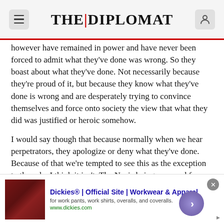THE | DIPLOMAT
however have remained in power and have never been forced to admit what they've done was wrong. So they boast about what they've done. Not necessarily because they're proud of it, but because they know what they've done is wrong and are desperately trying to convince themselves and force onto society the view that what they did was justified or heroic somehow.
I would say though that because normally when we hear perpetrators, they apologize or deny what they've done. Because of that we're tempted to see this as the exception to the rule. I think it isn't. The Nazis being removed from power, the Rwandan
[Figure (screenshot): Advertisement banner for Dickies workwear: 'Dickies® | Official Site | Workwear & Apparel', for work pants, work shirts, overalls, and coveralls. www.dickies.com. Shows an image of leather furniture on the left and a circular arrow button on the right.]